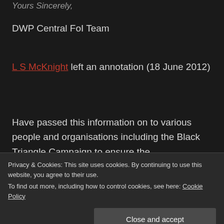Yours Sincerely,
DWP Central FoI Team
L S McKnight left an annotation (18 June 2012)
Have passed this information on to various people and organisations including the Black Triangle Campaign to ensure the
Privacy & Cookies: This site uses cookies. By continuing to use this website, you agree to their use. To find out more, including how to control cookies, see here: Cookie Policy
Close and accept
JSC left an annotation (30 June 2012)